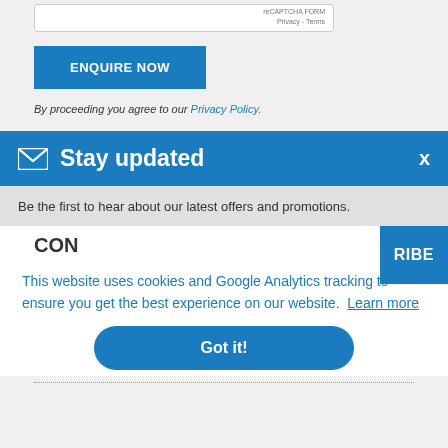RECAPTCHA FORM Privacy - Terms
ENQUIRE NOW
By proceeding you agree to our Privacy Policy.
✉ Stay updated
Be the first to hear about our latest offers and promotions.
CON... RIBE
This website uses cookies and Google Analytics tracking to ensure you get the best experience on our website. Learn more
Got it!